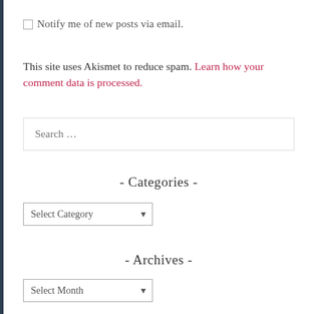Notify me of new posts via email.
This site uses Akismet to reduce spam. Learn how your comment data is processed.
Search …
- Categories -
Select Category
- Archives -
Select Month